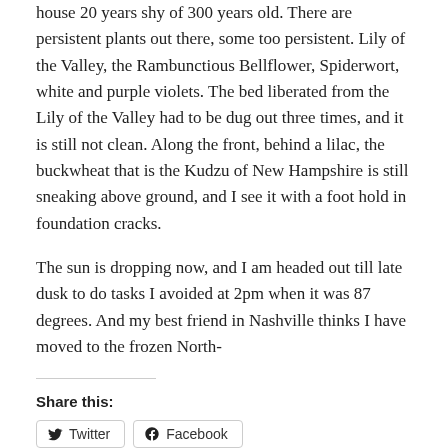house 20 years shy of 300 years old. There are persistent plants out there, some too persistent. Lily of the Valley, the Rambunctious Bellflower, Spiderwort, white and purple violets. The bed liberated from the Lily of the Valley had to be dug out three times, and it is still not clean. Along the front, behind a lilac, the buckwheat that is the Kudzu of New Hampshire is still sneaking above ground, and I see it with a foot hold in foundation cracks.
The sun is dropping now, and I am headed out till late dusk to do tasks I avoided at 2pm when it was 87 degrees. And my best friend in Nashville thinks I have moved to the frozen North-
Share this:
Twitter | Facebook